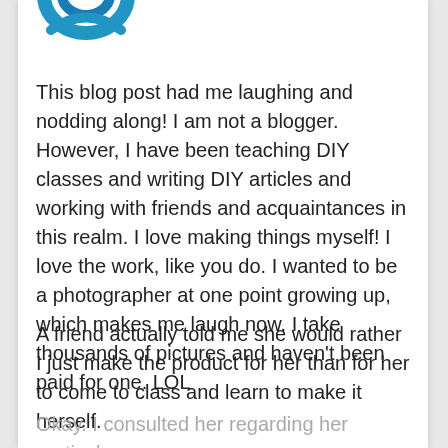[Figure (logo): Partial blue logo/icon visible at top of page, appears to be a swoosh or abstract circular shape in blue]
This blog post had me laughing and nodding along! I am not a blogger. However, I have been teaching DIY classes and writing DIY articles and working with friends and acquaintances in this realm. I love making things myself! I love the work, like you do. I wanted to be a photographer at one point growing up, which makes me laugh now. I take thousands of pictures and haven’t been paid for one. LOL
A friend actually told me she would rather I just make the product for her than for her to come to class and learn to make it herself.
Okay. I consulted her regarding her particular